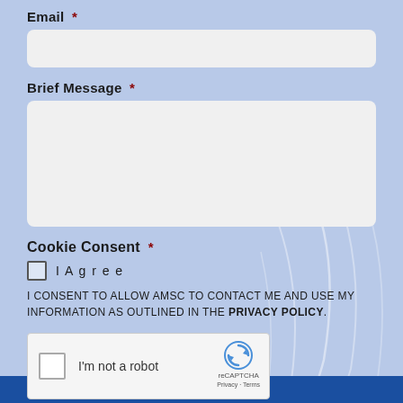Email *
[Figure (other): Email input field, empty, rounded rectangle with light gray background]
Brief Message *
[Figure (other): Brief Message textarea, empty, large rounded rectangle with light gray background]
Cookie Consent *
I Agree
I CONSENT TO ALLOW AMSC TO CONTACT ME AND USE MY INFORMATION AS OUTLINED IN THE PRIVACY POLICY.
[Figure (other): reCAPTCHA widget with checkbox and 'I'm not a robot' label, reCAPTCHA logo, Privacy and Terms links]